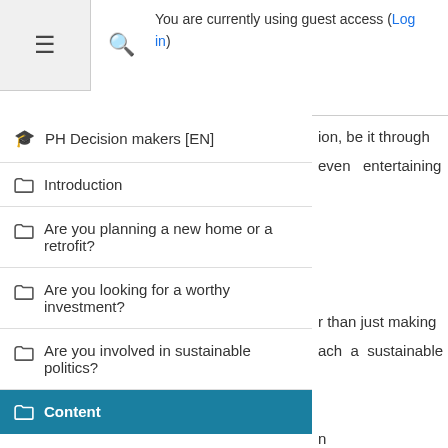You are currently using guest access (Log in)
PH Decision makers [EN]
Introduction
Are you planning a new home or a retrofit?
Are you looking for a worthy investment?
Are you involved in sustainable politics?
Content
Home
ion, be it through even entertaining
r than just making ach a sustainable
n